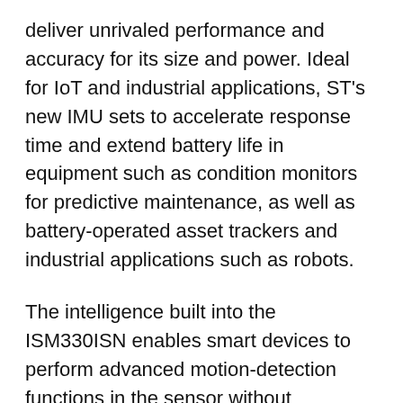deliver unrivaled performance and accuracy for its size and power. Ideal for IoT and industrial applications, ST's new IMU sets to accelerate response time and extend battery life in equipment such as condition monitors for predictive maintenance, as well as battery-operated asset trackers and industrial applications such as robots.
The intelligence built into the ISM330ISN enables smart devices to perform advanced motion-detection functions in the sensor without interaction with the external microcontroller (MCU), thus saving power at system level. ST's approach integrates a specialized processor, the ISPU, in a small area directly on the sensor chip, optimized for machine-learning applications. This enables the ISM330ISN module to have a 50% smaller footprint and consume 50% less power than a